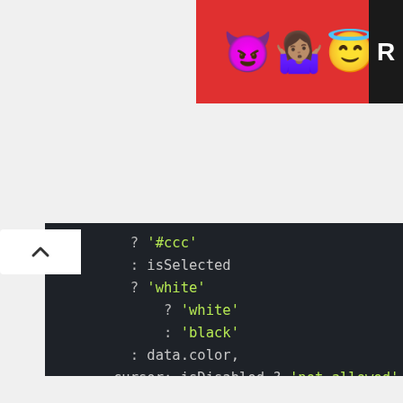[Figure (screenshot): Top banner advertisement with emojis (devil, woman shrugging, angel) on red background with partial letter R on right side]
[Figure (screenshot): Code editor dark theme showing JavaScript/CSS-in-JS code with syntax highlighting. Code includes conditional expressions for color, cursor, and active styles.]